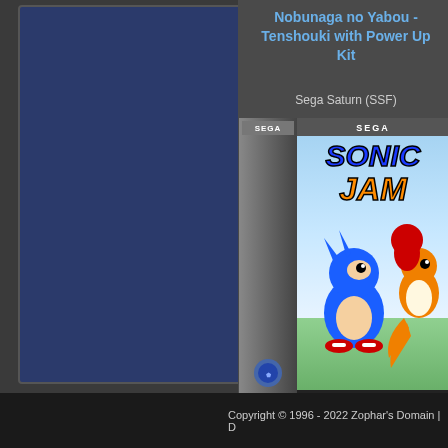[Figure (illustration): Left panel: dark navy blue rectangle serving as a game cover or sidebar background]
Nobunaga no Yabou - Tenshouki with Power Up Kit
Sega Saturn (SSF)
[Figure (photo): Sonic Jam Sega Saturn game box art showing Sonic, Tails, and Knuckles characters with the Sonic Jam logo on a blue/white background, with a grey Sega Saturn game spine on the left]
Sonic Jam
Sega Saturn (SSF)
Copyright © 1996 - 2022 Zophar's Domain | D